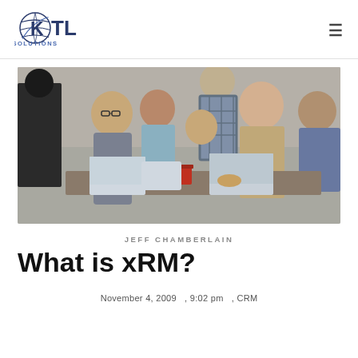KTL Solutions
[Figure (photo): Group of young professionals working together around a table with laptops in a casual office or cafe setting]
JEFF CHAMBERLAIN
What is xRM?
November 4, 2009 , 9:02 pm , CRM